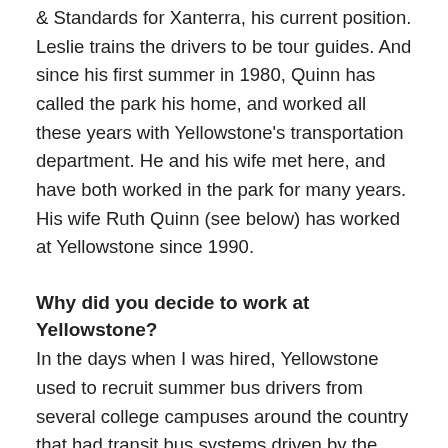& Standards for Xanterra, his current position. Leslie trains the drivers to be tour guides. And since his first summer in 1980, Quinn has called the park his home, and worked all these years with Yellowstone's transportation department. He and his wife met here, and have both worked in the park for many years. His wife Ruth Quinn (see below) has worked at Yellowstone since 1990.
Why did you decide to work at Yellowstone?
In the days when I was hired, Yellowstone used to recruit summer bus drivers from several college campuses around the country that had transit bus systems driven by the students. A fellow driver at the University of Massachusetts, Amherst, recruited